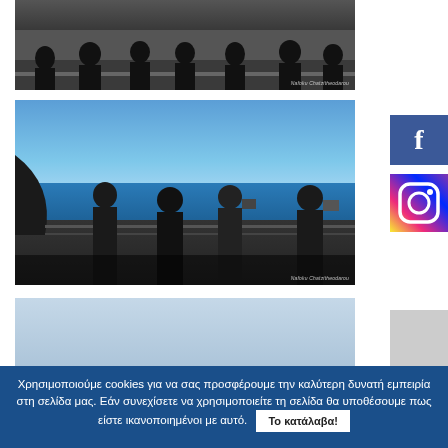[Figure (photo): Group of people standing on a rooftop terrace overlooking a harbor/port, viewed from behind. Dark silhouettes against a bright coastal scene. Watermark: Nafoku Chatzitheodarou]
[Figure (photo): People on a balcony/terrace photographing a coastal city with harbor and sea in the background under blue sky. Dark silhouettes. Watermark: Nafoku Chatzitheodarou]
[Figure (photo): Partial view of a third photo showing pale blue sky scene, partially cut off at bottom of page]
Χρησιμοποιούμε cookies για να σας προσφέρουμε την καλύτερη δυνατή εμπειρία στη σελίδα μας. Εάν συνεχίσετε να χρησιμοποιείτε τη σελίδα θα υποθέσουμε πως είστε ικανοποιημένοι με αυτό.
Το κατάλαβα!